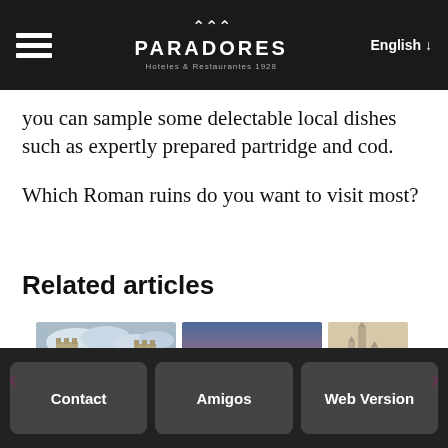PARADORES Hoteles & Restaurantes 1928 | English
you can sample some delectable local dishes such as expertly prepared partridge and cod.
Which Roman ruins do you want to visit most?
Related articles
[Figure (photo): Three travel article thumbnail photos in a horizontal carousel: a medieval castle with cloudy sky, a sunset cityscape with rooftop terrace, and a partial view of a historic city cathedral.]
Contact | Amigos | Web Version